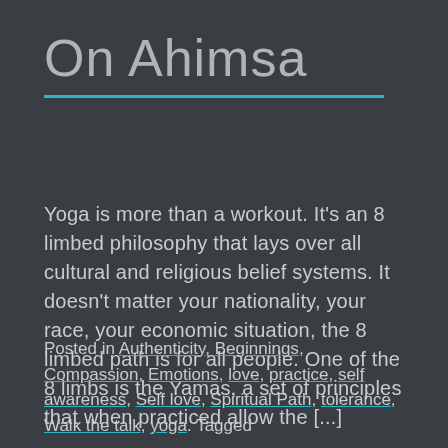On Ahimsa
Yoga is more than a workout.  It's an 8 limbed philosophy that lays over all cultural and religious belief systems.  It doesn't matter your nationality, your race, your economic situation, the 8 limbed path is for all people.  One of the 8 limbs is the Yamas, a set of principles that when practiced allow the [...]
Posted in Authenticity, Beginnings, Compassion, Emotions, love, practice, self awareness, Self love, Spiritual Path, tolerance, Walk the talk, yoga. Tagged